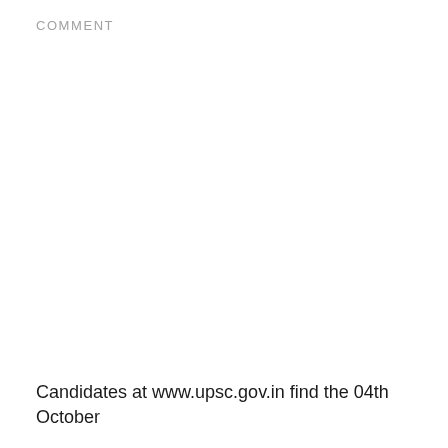COMMENT
Candidates at www.upsc.gov.in find the 04th October